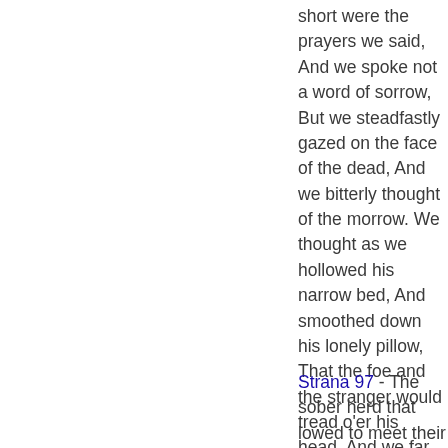short were the prayers we said, And we spoke not a word of sorrow, But we steadfastly gazed on the face of the dead, And we bitterly thought of the morrow. We thought as we hollowed his narrow bed, And smoothed down his lonely pillow, That the foe and the stranger would tread o'er his head, And we far away on the billow.
Vyskytuje sa v 764 knihe (-ách) od 1758-2008
Strana 97 - The sober herd that lowed to meet their young, The noisy geese that gabbled o'er the pool, The playful children just let loose